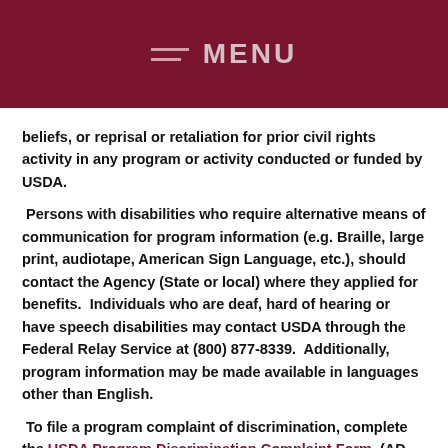MENU
beliefs, or reprisal or retaliation for prior civil rights activity in any program or activity conducted or funded by USDA.
Persons with disabilities who require alternative means of communication for program information (e.g. Braille, large print, audiotape, American Sign Language, etc.), should contact the Agency (State or local) where they applied for benefits. Individuals who are deaf, hard of hearing or have speech disabilities may contact USDA through the Federal Relay Service at (800) 877-8339. Additionally, program information may be made available in languages other than English.
To file a program complaint of discrimination, complete the USDA Program Discrimination Complaint Form, (AD-3027) found online at: How to File a Complaint, and at any USDA